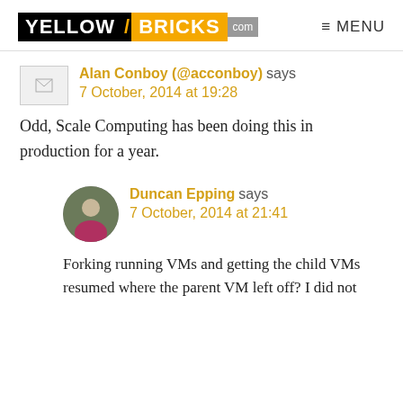YELLOW/BRICKS.com  ≡ MENU
Alan Conboy (@acconboy) says
7 October, 2014 at 19:28
Odd, Scale Computing has been doing this in production for a year.
Duncan Epping says
7 October, 2014 at 21:41
Forking running VMs and getting the child VMs resumed where the parent VM left off? I did not